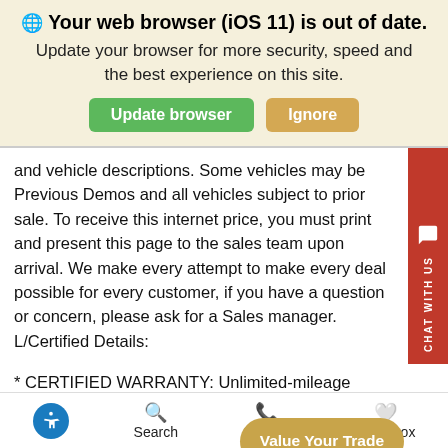[Figure (screenshot): Browser update warning banner with globe icon, bold heading 'Your web browser (iOS 11) is out of date.', subtitle text, green 'Update browser' button and gold 'Ignore' button]
and vehicle descriptions. Some vehicles may be Previous Demos and all vehicles subject to prior sale. To receive this internet price, you must print and present this page to the sales team upon arrival. We make every attempt to make every deal possible for every customer, if you have a question or concern, please ask for a Sales manager. L/Certified Details:
* CERTIFIED WARRANTY: Unlimited-mileage warranty up to 6 years. Balance of new car warranty (4 Year/50K Miles) plus 2 Year/Unlimited-mileage L/Certifi… SERVICE MAINTENANCE: Complimentary… Plan covering the first four basic factory-scheduled
Accessibility icon  Search  Contact  Glovebox